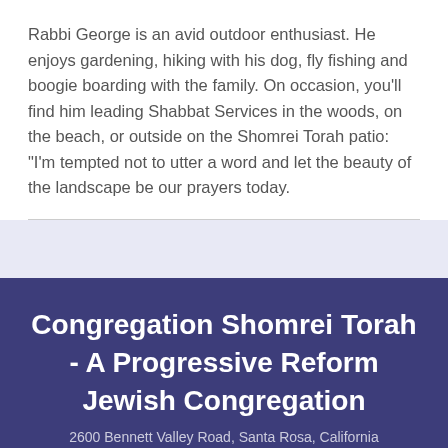Rabbi George is an avid outdoor enthusiast. He enjoys gardening, hiking with his dog, fly fishing and boogie boarding with the family. On occasion, you'll find him leading Shabbat Services in the woods, on the beach, or outside on the Shomrei Torah patio: "I'm tempted not to utter a word and let the beauty of the landscape be our prayers today.
Congregation Shomrei Torah - A Progressive Reform Jewish Congregation
2600 Bennett Valley Road, Santa Rosa, California